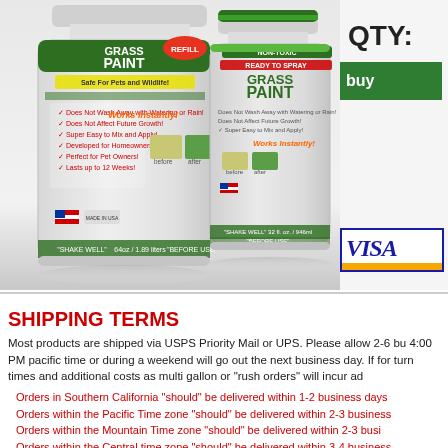[Figure (photo): Product photo of two Grass Paint bottles (refill and ready-to-spray), plus QTY label, green buy button, and Visa logo partially visible on the right]
SHIPPING TERMS
Most products are shipped via USPS Priority Mail or UPS. Please allow 2-6 bu 4:00 PM pacific time or during a weekend will go out the next business day. If for turn times and additional costs as multi gallon or "rush orders" will incur ad
Orders in Southern California "should" be delivered within 1-2 business days
Orders within the Pacific Time zone "should" be delivered within 2-3 business
Orders within the Mountain Time zone "should" be delivered within 2-3 busi
Orders within the Central time zone "should" be delivered within 3-4 business
Orders within the Eastern Time zone "should" be delivered within 3-4 busine
"Business days" are considered Monday-Friday.